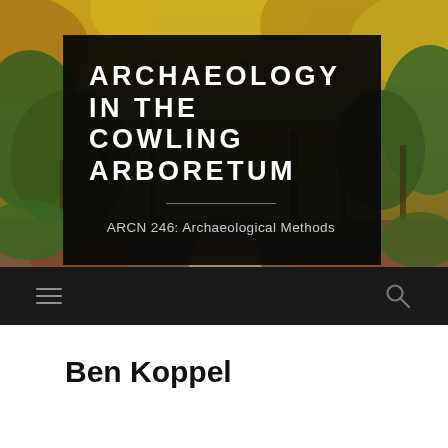[Figure (photo): Autumn forest path with colorful orange and yellow leaves on trees, forming a canopy over a winding trail]
ARCHAEOLOGY IN THE COWLING ARBORETUM
ARCN 246: Archaeological Methods
Ben Koppel